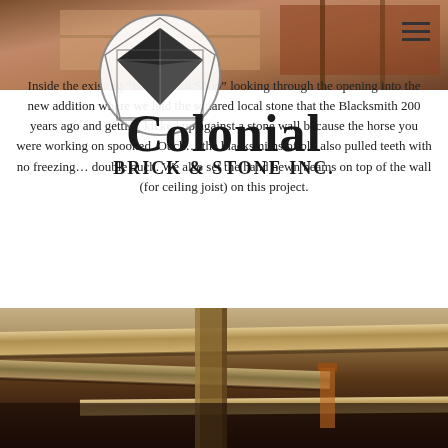[Figure (photo): Top portion of interior photo of existing Blacksmith Shop building]
[Figure (logo): Colonial Brick & Stone Inc. logo — geometric diamond/crystal shape inside a circle, black and white]
Inside the existing “Blacksmith Shop” looking through the opening into the new addition where we laid the squared local stone that the Blacksmith 200 years ago and getting kicked up against a stone wall because the horse you were working on spooked. Ouch… the blacksmiths of old also pulled teeth with no freezing… double ouch. We also set the hand hewn beams on top of the wall (for ceiling joist) on this project.
[Figure (photo): Interior photo showing hand hewn wooden beams set on top of stone wall for ceiling joists]